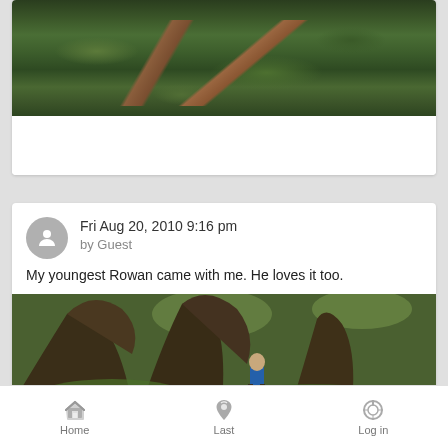[Figure (photo): Partial view of fern forest floor with green ferns and twisted brown branches/roots]
Fri Aug 20, 2010 9:16 pm
by Guest
My youngest Rowan came with me. He loves it too.
[Figure (photo): Large ancient oak tree with massive trunk and spreading branches; a boy in a blue shirt stands beneath it in a green forest]
Home   Last   Log in